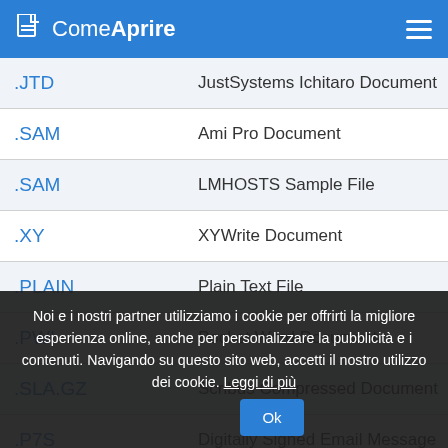ComeAprire
| Extension | Description |
| --- | --- |
| .JTD | JustSystems Ichitaro Document |
| .SAM | Ami Pro Document |
| .SAM | LMHOSTS Sample File |
| .XY | XYWrite Document |
| .PLAIN | Plain Text File |
| .PWI | Pocket Word Document |
| .SLA.GZ | Scribus Compressed Document |
| .P7S | Digitally Signed Email Message |
Noi e i nostri partner utilizziamo i cookie per offrirti la migliore esperienza online, anche per personalizzare la pubblicità e i contenuti. Navigando su questo sito web, accetti il nostro utilizzo dei cookie. Leggi di più